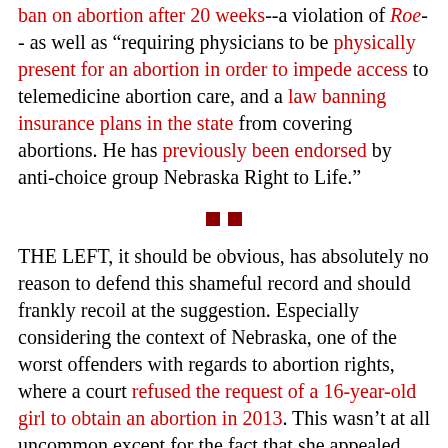ban on abortion after 20 weeks--a violation of Roe-- as well as "requiring physicians to be physically present for an abortion in order to impede access to telemedicine abortion care, and a law banning insurance plans in the state from covering abortions. He has previously been endorsed by anti-choice group Nebraska Right to Life."
[Figure (other): Two small dark red squares used as a section divider]
THE LEFT, it should be obvious, has absolutely no reason to defend this shameful record and should frankly recoil at the suggestion. Especially considering the context of Nebraska, one of the worst offenders with regards to abortion rights, where a court refused the request of a 16-year-old girl to obtain an abortion in 2013. This wasn't at all uncommon except for the fact that she appealed the decision and made national headlines--only to be denied again.
Moreover, what got lost in the melee of the debate